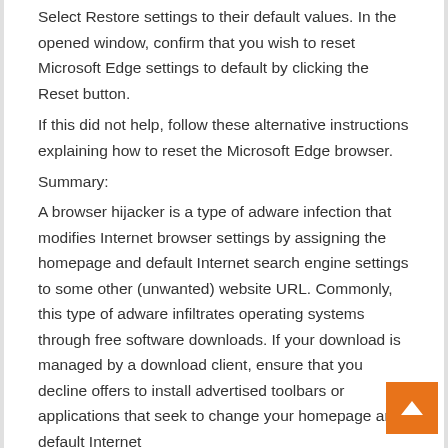Select Restore settings to their default values. In the opened window, confirm that you wish to reset Microsoft Edge settings to default by clicking the Reset button.
If this did not help, follow these alternative instructions explaining how to reset the Microsoft Edge browser.
Summary:
A browser hijacker is a type of adware infection that modifies Internet browser settings by assigning the homepage and default Internet search engine settings to some other (unwanted) website URL. Commonly, this type of adware infiltrates operating systems through free software downloads. If your download is managed by a download client, ensure that you decline offers to install advertised toolbars or applications that seek to change your homepage and default Internet